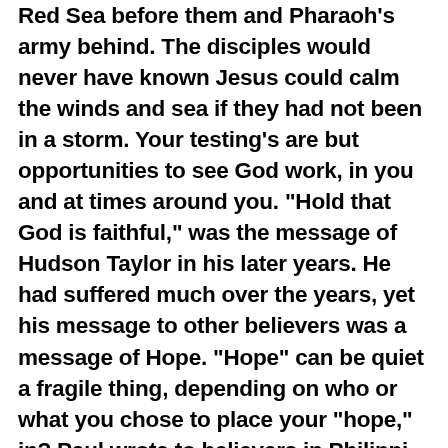Red Sea before them and Pharaoh's army behind. The disciples would never have known Jesus could calm the winds and sea if they had not been in a storm. Your testing's are but opportunities to see God work, in you and at times around you. "Hold that God is faithful," was the message of Hudson Taylor in his later years. He had suffered much over the years, yet his message to other believers was a message of Hope. "Hope" can be quiet a fragile thing, depending on who or what you chose to place your "hope," in? Paul wrote to believers in Philippi from a prison. They were poor people. Yet, he writes a word of "hope" to those who themselves had given sacrificially to him, "My God will supply all of your needs according to His glorious riches In Christ." {Phil 4:19}.  Hope in the God of Moses, the disciples, Hudson Taylor, and